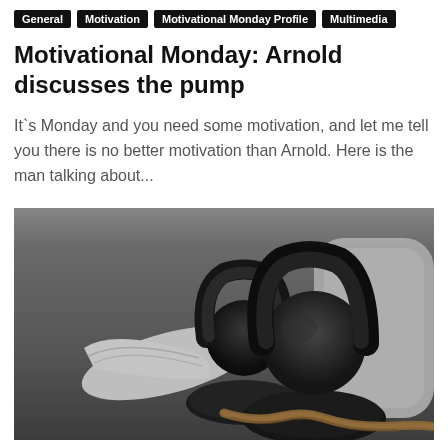General | Motivation | Motivational Monday Profile | Multimedia
Motivational Monday: Arnold discusses the pump
It`s Monday and you need some motivation, and let me tell you there is no better motivation than Arnold. Here is the man talking about...
[Figure (photo): Black and white photo of kettlebells and a white towel on a gym floor, with a rope visible in the foreground.]